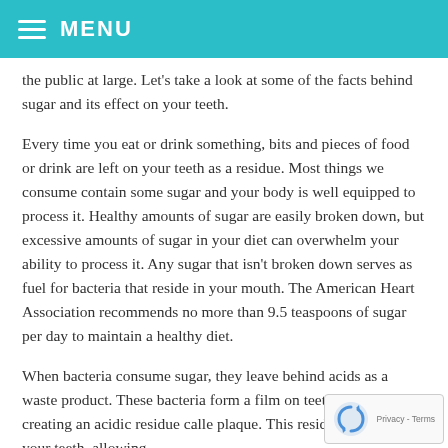MENU
the public at large. Let's take a look at some of the facts behind sugar and its effect on your teeth.
Every time you eat or drink something, bits and pieces of food or drink are left on your teeth as a residue. Most things we consume contain some sugar and your body is well equipped to process it. Healthy amounts of sugar are easily broken down, but excessive amounts of sugar in your diet can overwhelm your ability to process it. Any sugar that isn't broken down serves as fuel for bacteria that reside in your mouth. The American Heart Association recommends no more than 9.5 teaspoons of sugar per day to maintain a healthy diet.
When bacteria consume sugar, they leave behind acids as a waste product. These bacteria form a film on teeth as they grow, creating an acidic residue calle plaque. This residue seals around your teeth, allowing